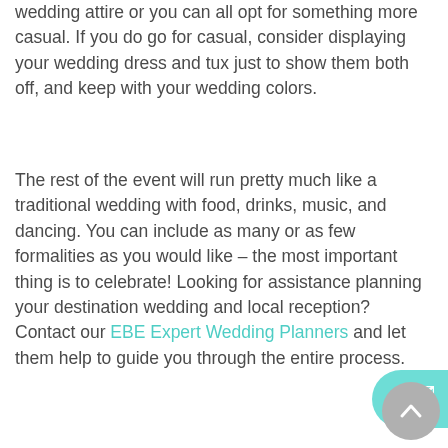wedding attire or you can all opt for something more casual. If you do go for casual, consider displaying your wedding dress and tux just to show them both off, and keep with your wedding colors.
The rest of the event will run pretty much like a traditional wedding with food, drinks, music, and dancing. You can include as many or as few formalities as you would like – the most important thing is to celebrate! Looking for assistance planning your destination wedding and local reception? Contact our EBE Expert Wedding Planners and let them help to guide you through the entire process.
[Figure (other): Teal/turquoise rounded mail button on right edge of page]
[Figure (other): Gray circular scroll-to-top button with upward chevron in bottom right corner]